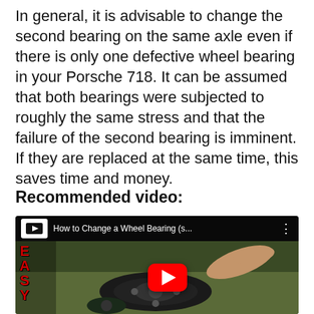In general, it is advisable to change the second bearing on the same axle even if there is only one defective wheel bearing in your Porsche 718. It can be assumed that both bearings were subjected to roughly the same stress and that the failure of the second bearing is imminent. If they are replaced at the same time, this saves time and money.
Recommended video:
[Figure (screenshot): YouTube video thumbnail showing a wheel bearing replacement tutorial titled 'How to Change a Wheel Bearing (s...' with a play button overlay. The thumbnail shows a mechanic working on a wheel hub/bearing assembly on grass. The video is from a channel with 'EASY' text displayed vertically on the left side.]